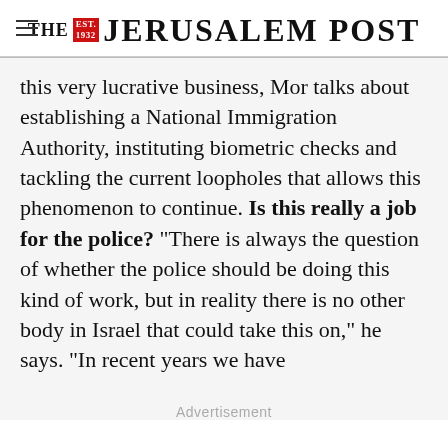THE JERUSALEM POST
this very lucrative business, Mor talks about establishing a National Immigration Authority, instituting biometric checks and tackling the current loopholes that allows this phenomenon to continue. Is this really a job for the police? "There is always the question of whether the police should be doing this kind of work, but in reality there is no other body in Israel that could take this on," he says. "In recent years we have
Advertisement